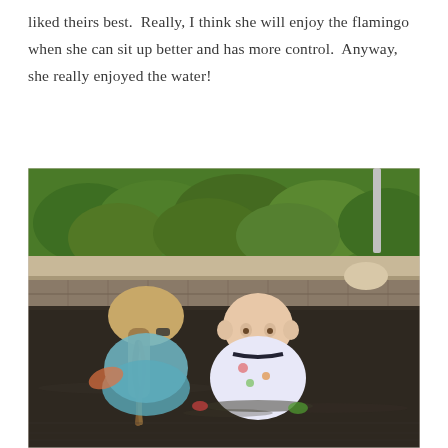liked theirs best.  Really, I think she will enjoy the flamingo when she can sit up better and has more control.  Anyway, she really enjoyed the water!
[Figure (photo): A woman with a braided ponytail and sunglasses holds a baby wearing a colorful fruit-print swimsuit in an outdoor pool. Green shrubs and a wooden fence are visible in the background. The pool water is dark and reflective.]